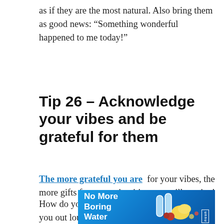as if they are the most natural. Also bring them as good news: “Something wonderful happened to me today!”
Tip 26 – Acknowledge your vibes and be grateful for them
The more grateful you are  for your vibes, the more gifts from your intuition you will receive!
How do you recognize your vibes? Say thank you out loud and / or write your vibes all down in your journal. What is that what you feel? Write it
[Figure (other): Advertisement banner: 'No More Boring Water' with nuun branding and product images on blue background]